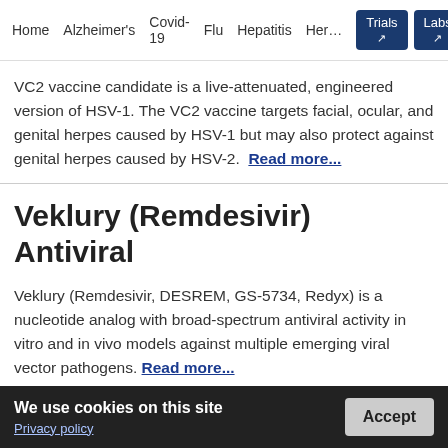Home  Alzheimer's  Covid-19  Flu  Hepatitis  Her…  Trials ↗  Labs ↗
VC2 vaccine candidate is a live-attenuated, engineered version of HSV-1. The VC2 vaccine targets facial, ocular, and genital herpes caused by HSV-1 but may also protect against genital herpes caused by HSV-2.  Read more...
Veklury (Remdesivir) Antiviral
Veklury (Remdesivir, DESREM, GS-5734, Redyx) is a nucleotide analog with broad-spectrum antiviral activity in vitro and in vivo models against multiple emerging viral vector pathogens. Read more...
We use cookies on this site
Privacy policy